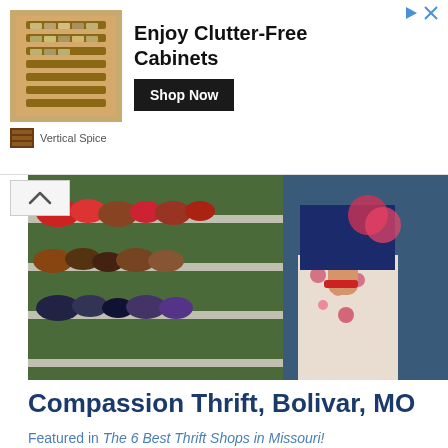[Figure (infographic): Advertisement banner for Vertical Spice showing a spice rack organizer product with the headline 'Enjoy Clutter-Free Cabinets', a 'Shop Now' button, and small Vertical Spice branding at bottom left. Navigation arrow icons top right.]
[Figure (photo): Photo of a woman browsing shoes on a store shelf at a thrift shop. Colorful sandals and shoes visible on metal shelving. The woman is wearing a patterned dress and red bracelet.]
Compassion Thrift, Bolivar, MO
Featured in The 6 Best Thrift Shops in Missouri!
Compassion Thrift Store, part of the Community Outreach Ministries organization, can't do everything they do without the help of donations from the generous community surrounding it. When you… Read More